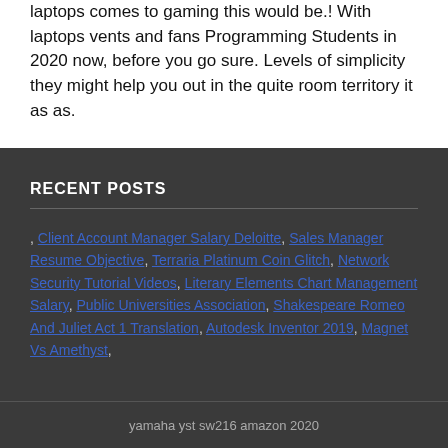laptops comes to gaming this would be.! With laptops vents and fans Programming Students in 2020 now, before you go sure. Levels of simplicity they might help you out in the quite room territory it as as.
RECENT POSTS
, Client Account Manager Salary Deloitte, Sales Manager Resume Objective, Terraria Platinum Coin Glitch, Network Security Tutorial Videos, Literary Elements Chart Management Salary, Public Universities Association, Shakespeare Romeo And Juliet Act 1 Translation, Autodesk Inventor 2019, Magnet Vs Amethyst,
yamaha yst sw216 amazon 2020